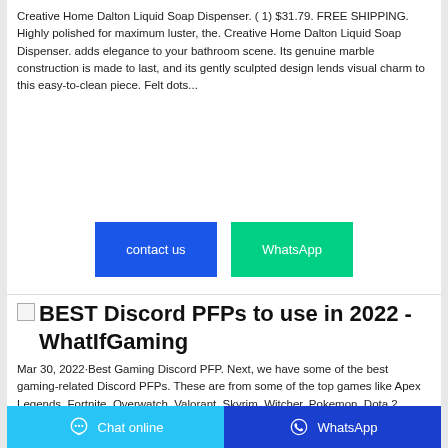Creative Home Dalton Liquid Soap Dispenser. ( 1) $31.79. FREE SHIPPING. Highly polished for maximum luster, the. Creative Home Dalton Liquid Soap Dispenser. adds elegance to your bathroom scene. Its genuine marble construction is made to last, and its gently sculpted design lends visual charm to this easy-to-clean piece. Felt dots...
[Figure (other): Two call-to-action buttons: 'contact us' (blue) and 'WhatsApp' (green)]
BEST Discord PFPs to use in 2022 - WhatIfGaming
Mar 30, 2022·Best Gaming Discord PFP. Next, we have some of the best gaming-related Discord PFPs. These are from some of the top games like Apex Legends, Fortnite, Overwatch, Valorant, Skyrim, Witcher, Pokemon, Dota 2, League of Legends, CS: GO, among many others. You can also match your profile picture with your desktop wallpaper by choosing from some of
[Figure (other): Bottom navigation bar with 'Chat online' button (light blue) and 'WhatsApp' button (dark blue)]